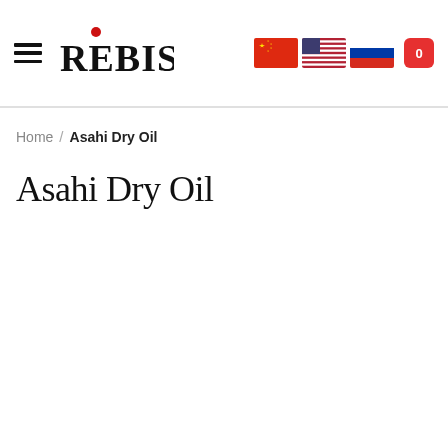REBIS [logo] [flags: China, USA, Russia] [cart: 0]
Home / Asahi Dry Oil
Asahi Dry Oil